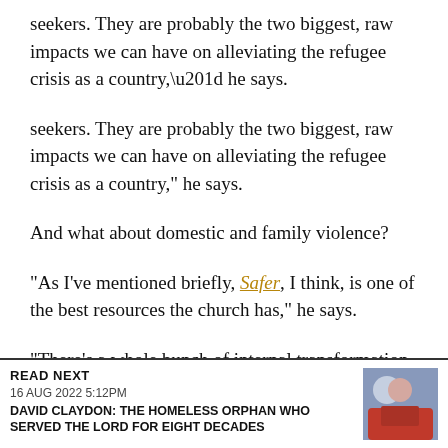seekers. They are probably the two biggest, raw impacts we can have on alleviating the refugee crisis as a country,” he says.
And what about domestic and family violence?
“As I’ve mentioned briefly, Safer, I think, is one of the best resources the church has,” he says.
“There’s a whole bunch of internal transformation work I think the church can do, and probably needs to do, around domestic and family violence
READ NEXT
16 AUG 2022 5:12PM
DAVID CLAYDON: THE HOMELESS ORPHAN WHO SERVED THE LORD FOR EIGHT DECADES